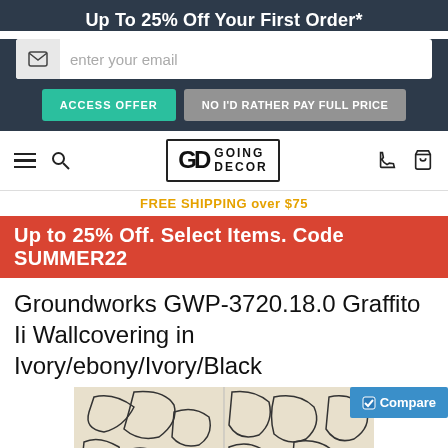Up To 25% Off Your First Order*
enter your email
ACCESS OFFER
NO I'D RATHER PAY FULL PRICE
[Figure (logo): Going Decor logo with GD monogram]
FREE SHIPPING over $75
Up to 25% Off. Select Items. Code SUMMER22
Groundworks GWP-3720.18.0 Graffito Ii Wallcovering in Ivory/ebony/Ivory/Black
[Figure (photo): Abstract graffito wallcovering pattern in ivory and black]